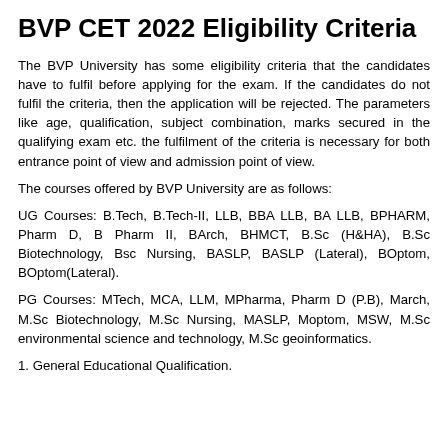BVP CET 2022 Eligibility Criteria
The BVP University has some eligibility criteria that the candidates have to fulfil before applying for the exam. If the candidates do not fulfil the criteria, then the application will be rejected. The parameters like age, qualification, subject combination, marks secured in the qualifying exam etc. the fulfilment of the criteria is necessary for both entrance point of view and admission point of view.
The courses offered by BVP University are as follows:
UG Courses: B.Tech, B.Tech-II, LLB, BBA LLB, BA LLB, BPHARM, Pharm D, B Pharm II, BArch, BHMCT, B.Sc (H&HA), B.Sc Biotechnology, Bsc Nursing, BASLP, BASLP (Lateral), BOptom, BOptom(Lateral).
PG Courses: MTech, MCA, LLM, MPharma, Pharm D (P.B), March, M.Sc Biotechnology, M.Sc Nursing, MASLP, Moptom, MSW, M.Sc environmental science and technology, M.Sc geoinformatics.
1. General Educational Qualification.